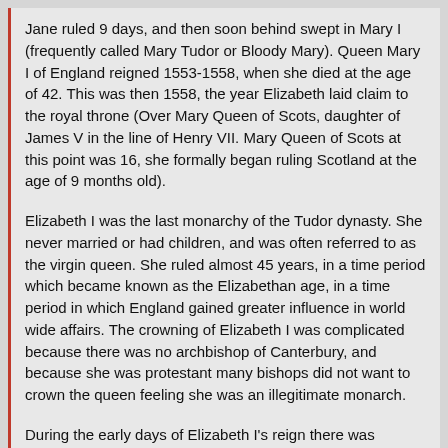Jane ruled 9 days, and then soon behind swept in Mary I (frequently called Mary Tudor or Bloody Mary). Queen Mary I of England reigned 1553-1558, when she died at the age of 42. This was then 1558, the year Elizabeth laid claim to the royal throne (Over Mary Queen of Scots, daughter of James V in the line of Henry VII. Mary Queen of Scots at this point was 16, she formally began ruling Scotland at the age of 9 months old).
Elizabeth I was the last monarchy of the Tudor dynasty. She never married or had children, and was often referred to as the virgin queen. She ruled almost 45 years, in a time period which became known as the Elizabethan age, in a time period in which England gained greater influence in world wide affairs. The crowning of Elizabeth I was complicated because there was no archbishop of Canterbury, and because she was protestant many bishops did not want to crown the queen feeling she was an illegitimate monarch.
During the early days of Elizabeth I's reign there was significant conflict between her and Mary Queen of Scots. By this point Mary was the wife of French King Francis II.